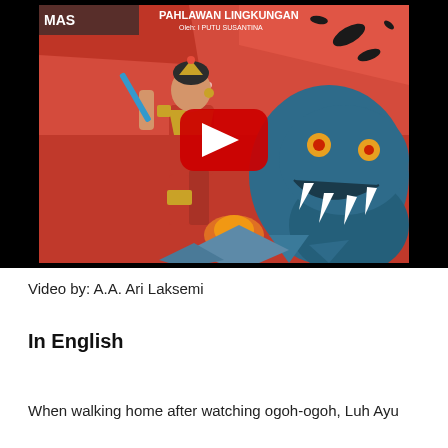[Figure (screenshot): YouTube video thumbnail showing a comic book illustration of a female warrior in red and gold armor fighting a blue monster/dragon. Text at top reads 'MAS' and 'PAHLAWAN LINGKUNGAN' with 'Oleh: I PUTU SUSANTINA'. A red YouTube play button is centered over the image.]
Video by: A.A. Ari Laksemi
In English
When walking home after watching ogoh-ogoh, Luh Ayu